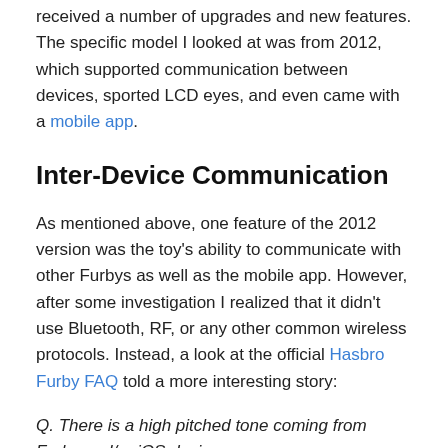received a number of upgrades and new features.  The specific model I looked at was from 2012, which supported communication between devices, sported LCD eyes, and even came with a mobile app.
Inter-Device Communication
As mentioned above, one feature of the 2012 version was the toy's ability to communicate with other Furbys as well as the mobile app.  However, after some investigation I realized that it didn't use Bluetooth, RF, or any other common wireless protocols.  Instead, a look at the official Hasbro Furby FAQ told a more interesting story:
Q. There is a high pitched tone coming from Furby and/or iOS device...